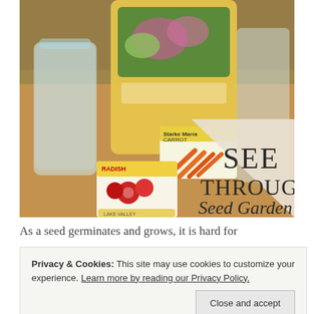[Figure (photo): Photo of seed packets (Radish, Carrot) and glass jars on a wooden table, with overlaid text reading 'SEE THROUGH Seed Garden' on a beige/cream triangle overlay in the lower right corner.]
As a seed germinates and grows, it is hard for
Privacy & Cookies: This site may use cookies to customize your experience. Learn more by reading our Privacy Policy.
mystic cover of soil.  Of course you can also
bean seeds in a plastic bag just